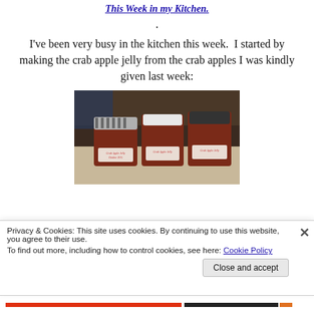This Week in my Kitchen.
.
I've been very busy in the kitchen this week.  I started by making the crab apple jelly from the crab apples I was kindly given last week:
[Figure (photo): Three jars of homemade Crab Apple Jelly with handwritten labels, sitting on a surface with a dark background.]
Privacy & Cookies: This site uses cookies. By continuing to use this website, you agree to their use.
To find out more, including how to control cookies, see here: Cookie Policy
Close and accept